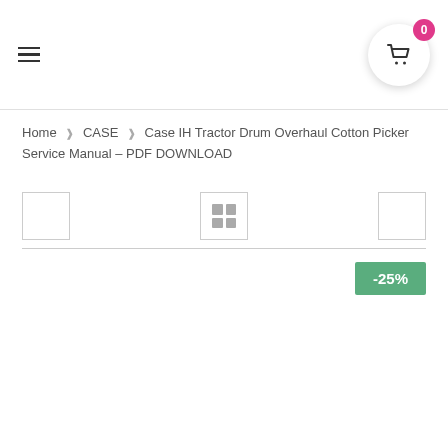Navigation header with hamburger menu and shopping cart (0 items)
Home › CASE › Case IH Tractor Drum Overhaul Cotton Picker Service Manual – PDF DOWNLOAD
[Figure (screenshot): View controls row with left square button, center grid/4-square icon button, and right square button]
-25%